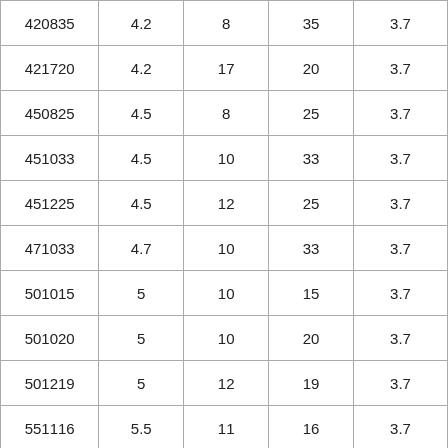| 420835 | 4.2 | 8 | 35 | 3.7 |
| 421720 | 4.2 | 17 | 20 | 3.7 |
| 450825 | 4.5 | 8 | 25 | 3.7 |
| 451033 | 4.5 | 10 | 33 | 3.7 |
| 451225 | 4.5 | 12 | 25 | 3.7 |
| 471033 | 4.7 | 10 | 33 | 3.7 |
| 501015 | 5 | 10 | 15 | 3.7 |
| 501020 | 5 | 10 | 20 | 3.7 |
| 501219 | 5 | 12 | 19 | 3.7 |
| 551116 | 5.5 | 11 | 16 | 3.7 |
| 551218 | 5.5 | 12 | 18 | 3.7 |